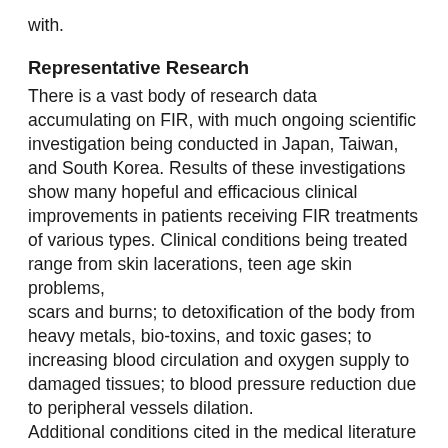with.
Representative Research
There is a vast body of research data accumulating on FIR, with much ongoing scientific investigation being conducted in Japan, Taiwan, and South Korea. Results of these investigations show many hopeful and efficacious clinical improvements in patients receiving FIR treatments of various types. Clinical conditions being treated range from skin lacerations, teen age skin problems,
scars and burns; to detoxification of the body from heavy metals, bio-toxins, and toxic gases; to increasing blood circulation and oxygen supply to damaged tissues; to blood pressure reduction due to peripheral vessels dilation.
Additional conditions cited in the medical literature include significant relief from serious sunburn; to detoxification in toxic electromagnetic poisoning; to therapeutic improvement in joint stiffness, sprains, muscle pain, and arthritis; to potential use in treating many dental conditions. Treating several serious lung conditions with FIR; reducing stress related syndromes and conditions; and reported positive effects of FIR in treating side